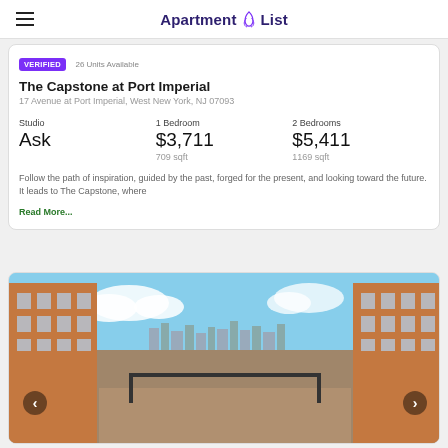Apartment List
Verified · 26 Units Available
The Capstone at Port Imperial
17 Avenue at Port Imperial, West New York, NJ 07093
| Studio | 1 Bedroom | 2 Bedrooms |
| --- | --- | --- |
| Ask | $3,711 | $5,411 |
|  | 709 sqft | 1169 sqft |
Follow the path of inspiration, guided by the past, forged for the present, and looking toward the future. It leads to The Capstone, where Read More...
[Figure (photo): Exterior photo of The Capstone at Port Imperial apartment buildings with a courtyard view and NYC skyline in the background]